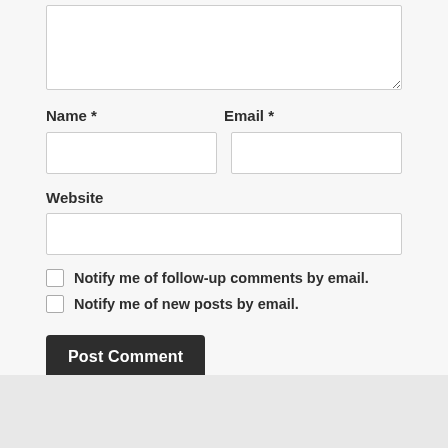[Figure (screenshot): WordPress comment form partial view showing a textarea (top, partially cut off), Name and Email fields side by side, Website field, two checkboxes for email notifications, and a Post Comment button.]
Name *
Email *
Website
Notify me of follow-up comments by email.
Notify me of new posts by email.
Post Comment